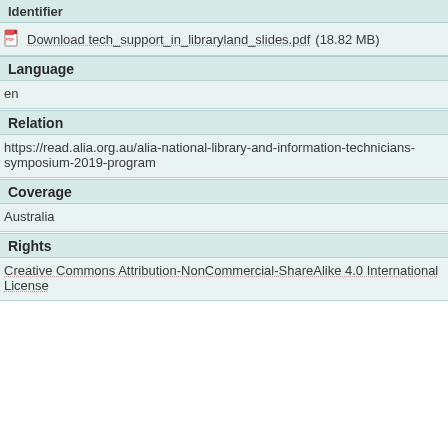Identifier
Download tech_support_in_libraryland_slides.pdf (18.82 MB)
Language
en
Relation
https://read.alia.org.au/alia-national-library-and-information-technicians-symposium-2019-program
Coverage
Australia
Rights
Creative Commons Attribution-NonCommercial-ShareAlike 4.0 International License